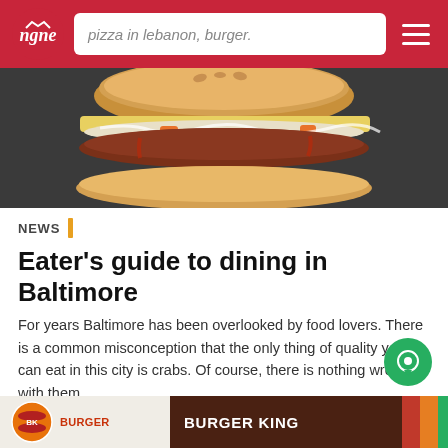ngne — pizza in lebanon, burger. [navigation header with logo, search bar, and hamburger menu]
[Figure (photo): Close-up photo of a burger with a toasted bun, melted cheese, coleslaw, and meat patty on a dark surface]
NEWS
Eater's guide to dining in Baltimore
For years Baltimore has been overlooked by food lovers. There is a common misconception that the only thing of quality you can eat in this city is crabs. Of course, there is nothing wrong with them,...
May 09, 2021 | Travel & Tourism
[Figure (logo): Burger King advertisement banner at the bottom — left side beige with Burger King logo, right side dark brown with BURGER KING text and colored stripes]